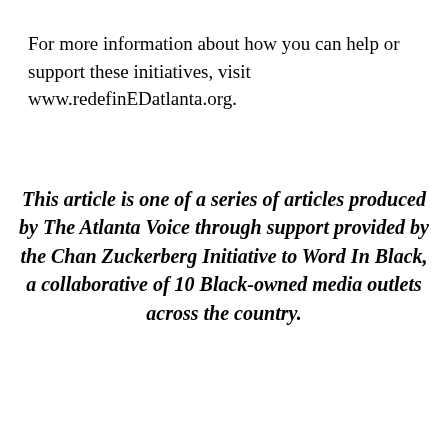For more information about how you can help or support these initiatives, visit www.redefinEDatlanta.org.
This article is one of a series of articles produced by The Atlanta Voice through support provided by the Chan Zuckerberg Initiative to Word In Black, a collaborative of 10 Black-owned media outlets across the country.